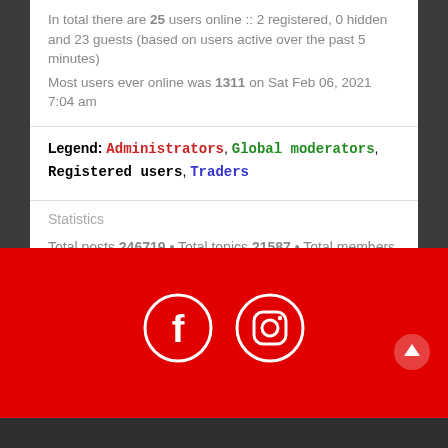In total there are 25 users online :: 2 registered, 0 hidden and 23 guests (based on users active over the past 5 minutes)
Most users ever online was 1311 on Sat Feb 06, 2021 7:04 am
Legend: Administrators, Global moderators, Registered users, Traders
Statistics
Total posts 246719 • Total topics 21587 • Total members 3925 • Our newest member johanExige
[Figure (illustration): Red footer with Facebook and Instagram social media icons (white circle outlines with white logos), and a white upward arrow scroll button in the bottom right corner.]